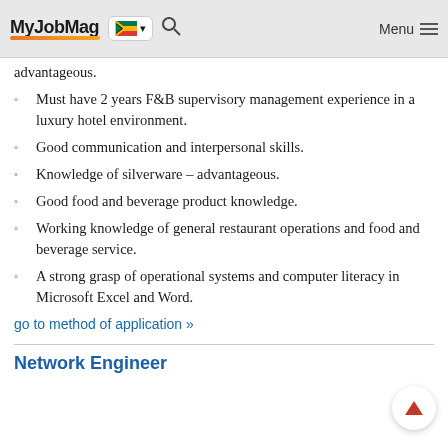MyJobMag [South Africa flag] Menu
advantageous.
Must have 2 years F&B supervisory management experience in a luxury hotel environment.
Good communication and interpersonal skills.
Knowledge of silverware – advantageous.
Good food and beverage product knowledge.
Working knowledge of general restaurant operations and food and beverage service.
A strong grasp of operational systems and computer literacy in Microsoft Excel and Word.
go to method of application »
Network Engineer